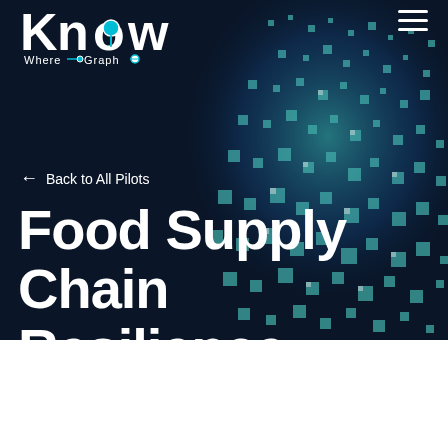[Figure (logo): KnowWhereGraph logo — stylized 'Know' text with map pin and graph nodes, white text on dark background]
← Back to All Pilots
Food Supply Chain Resilience